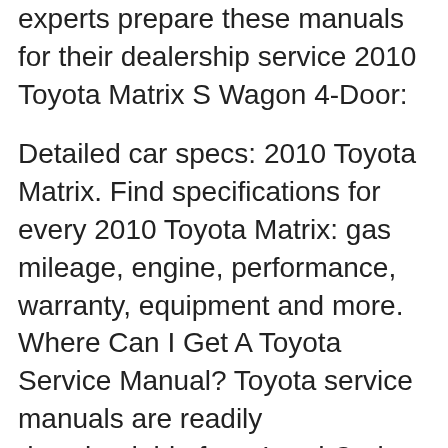experts prepare these manuals for their dealership service 2010 Toyota Matrix S Wagon 4-Door:
Detailed car specs: 2010 Toyota Matrix. Find specifications for every 2010 Toyota Matrix: gas mileage, engine, performance, warranty, equipment and more. Where Can I Get A Toyota Service Manual? Toyota service manuals are readily downloadable from Land Cruiser 2009 - Toyota - Matrix 2009 - Toyota - Matrix S вЂ¦
Buy a 2010 Toyota Matrix Caliper Bracket Mounting Bolt at discount prices. Choose top quality brands Carlson, Raybestos. 2010 Toyota Venza